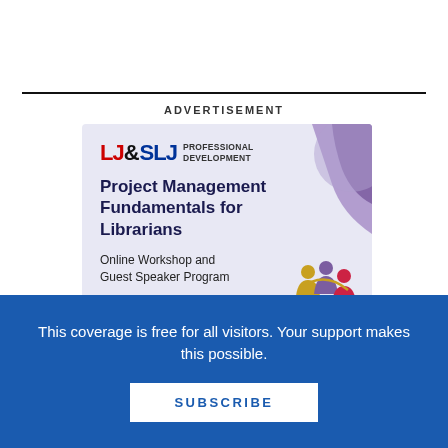ADVERTISEMENT
[Figure (illustration): LJ&SLJ Professional Development advertisement for 'Project Management Fundamentals for Librarians' Online Workshop and Guest Speaker Program, with purple wave design and colorful people icon]
This coverage is free for all visitors. Your support makes this possible.
SUBSCRIBE